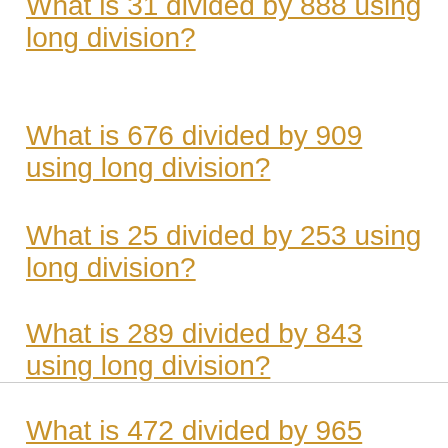What is 31 divided by 888 using long division?
What is 676 divided by 909 using long division?
What is 25 divided by 253 using long division?
What is 289 divided by 843 using long division?
What is 472 divided by 965 using long division?
What is 990 divided by 994 using long division?